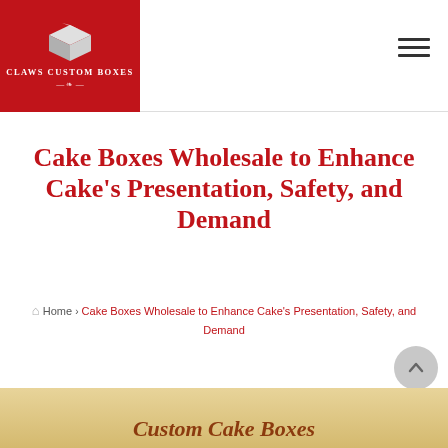[Figure (logo): Claws Custom Boxes logo — white 3D box icon above 'CLAWS CUSTOM BOXES' text on red background]
[Figure (other): Hamburger menu icon — three horizontal dark lines]
Cake Boxes Wholesale to Enhance Cake's Presentation, Safety, and Demand
Home › Cake Boxes Wholesale to Enhance Cake's Presentation, Safety, and Demand
[Figure (other): Back to top button — circular gray button with upward caret arrow]
Custom Cake Boxes